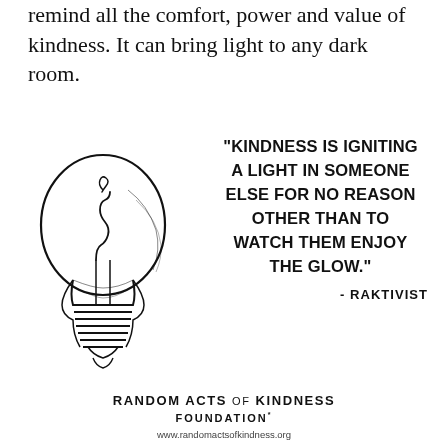remind all the comfort, power and value of kindness. It can bring light to any dark room.
[Figure (illustration): Hand-drawn sketch of a light bulb with a curling filament inside, rendered in black ink on white background]
"KINDNESS IS IGNITING A LIGHT IN SOMEONE ELSE FOR NO REASON OTHER THAN TO WATCH THEM ENJOY THE GLOW." - RAKTIVIST
RANDOM ACTS OF KINDNESS FOUNDATION* www.randomactsofkindness.org